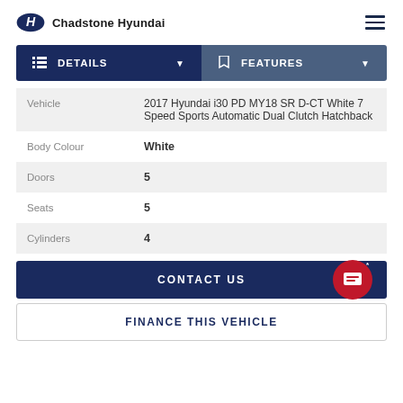Chadstone Hyundai
DETAILS | FEATURES
| Field | Value |
| --- | --- |
| Vehicle | 2017 Hyundai i30 PD MY18 SR D-CT White 7 Speed Sports Automatic Dual Clutch Hatchback |
| Body Colour | White |
| Doors | 5 |
| Seats | 5 |
| Cylinders | 4 |
CONTACT US
FINANCE THIS VEHICLE